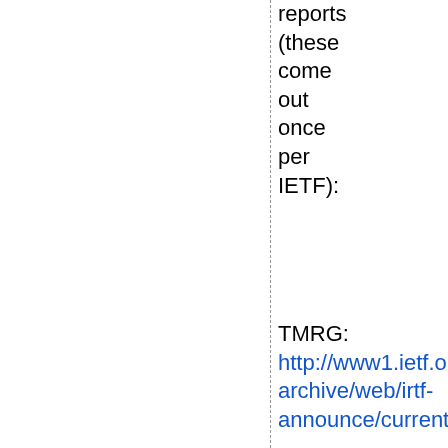reports (these come out once per IETF):
TMRG: http://www1.ietf.org/mail-archive/web/irtf-announce/current/msg00036.html
MOBOPTS: http://www1.ietf.org/mail-archive/web/irtf-announce/current/msg00037.html
ICCRG: http://www1.ietf.org/mail-archive/web/irtf-announce/current/msg00038.html
ASRG: http://www1.ietf.org/mail-archive/web/irtf-announce/current/msg00039.html
E2ERG: